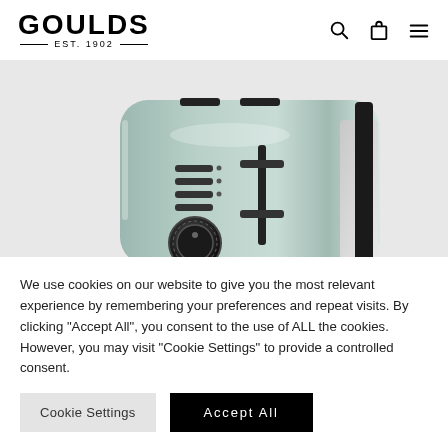GOULDS EST. 1902
[Figure (photo): A silver/grey retro-style Cuisinart 2-slice toaster with black knob and control lever, photographed against a white background. The toaster has a rounded chrome body with slot openings on top and a browning control knob on the front.]
We use cookies on our website to give you the most relevant experience by remembering your preferences and repeat visits. By clicking "Accept All", you consent to the use of ALL the cookies. However, you may visit "Cookie Settings" to provide a controlled consent.
Cookie Settings   Accept All